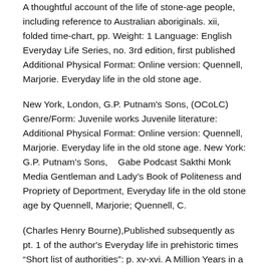A thoughtful account of the life of stone-age people, including reference to Australian aboriginals. xii, folded time-chart, pp. Weight: 1 Language: English Everyday Life Series, no. 3rd edition, first published Additional Physical Format: Online version: Quennell, Marjorie. Everyday life in the old stone age.
New York, London, G.P. Putnam's Sons, (OCoLC) Genre/Form: Juvenile works Juvenile literature: Additional Physical Format: Online version: Quennell, Marjorie. Everyday life in the old stone age. New York: G.P. Putnam's Sons,   Gabe Podcast Sakthi Monk Media Gentleman and Lady’s Book of Politeness and Propriety of Deportment, Everyday life in the old stone age by Quennell, Marjorie; Quennell, C.
(Charles Henry Bourne),Published subsequently as pt. 1 of the author's Everyday life in prehistoric times "Short list of authorities": p. xv-xvi. A Million Years in a Day: A Curious History of Everyday Life from the Stone Age to the Phone Age - Kindle edition by Jenner, Greg.
Download it once and read it on your Kindle device, PC, phones or tablets. Use features like bookmarks, note-taking and highlighting